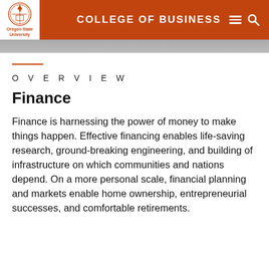COLLEGE OF BUSINESS
OVERVIEW
Finance
Finance is harnessing the power of money to make things happen. Effective financing enables life-saving research, ground-breaking engineering, and building of infrastructure on which communities and nations depend. On a more personal scale, financial planning and markets enable home ownership, entrepreneurial successes, and comfortable retirements.